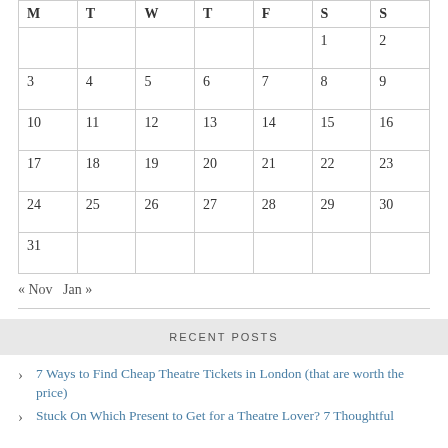| M | T | W | T | F | S | S |
| --- | --- | --- | --- | --- | --- | --- |
|  |  |  |  |  | 1 | 2 |
| 3 | 4 | 5 | 6 | 7 | 8 | 9 |
| 10 | 11 | 12 | 13 | 14 | 15 | 16 |
| 17 | 18 | 19 | 20 | 21 | 22 | 23 |
| 24 | 25 | 26 | 27 | 28 | 29 | 30 |
| 31 |  |  |  |  |  |  |
« Nov   Jan »
RECENT POSTS
7 Ways to Find Cheap Theatre Tickets in London (that are worth the price)
Stuck On Which Present to Get for a Theatre Lover? 7 Thoughtful